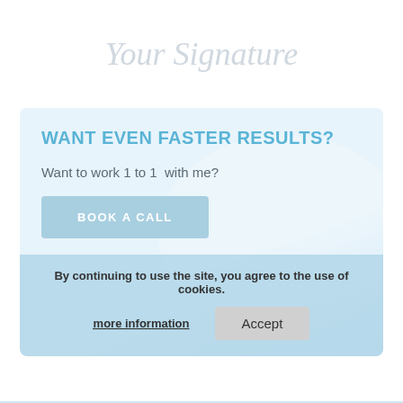[Figure (illustration): Cursive signature placeholder text 'Your Signature' in light gray italic script font]
WANT EVEN FASTER RESULTS?
Want to work 1 to 1  with me?
BOOK A CALL
By continuing to use the site, you agree to the use of cookies.
more information
Accept